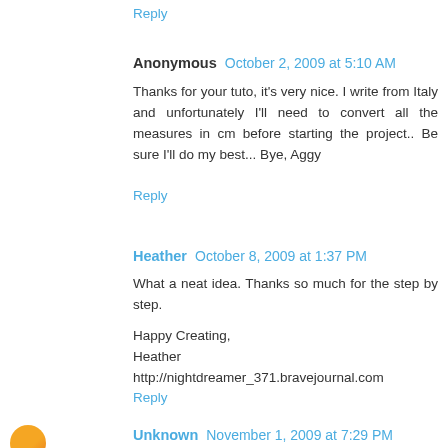Reply
Anonymous   October 2, 2009 at 5:10 AM
Thanks for your tuto, it's very nice. I write from Italy and unfortunately I'll need to convert all the measures in cm before starting the project.. Be sure I'll do my best... Bye, Aggy
Reply
Heather   October 8, 2009 at 1:37 PM
What a neat idea. Thanks so much for the step by step.

Happy Creating,
Heather
http://nightdreamer_371.bravejournal.com
Reply
Unknown   November 1, 2009 at 7:29 PM